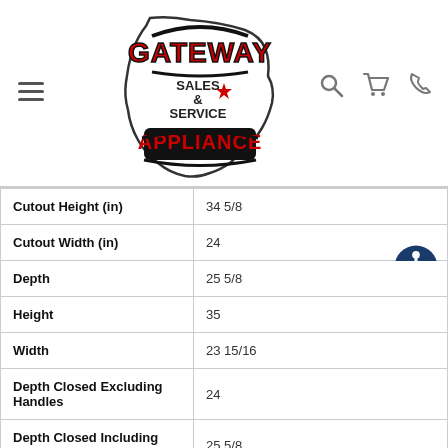[Figure (logo): Gateway Appliance Sales & Service logo with Illinois state outline]
| Attribute | Value |
| --- | --- |
| Cutout Height (in) | 34 5/8 |
| Cutout Width (in) | 24 |
| Depth | 25 5/8 |
| Height | 35 |
| Width | 23 15/16 |
| Depth Closed Excluding Handles | 24 |
| Depth Closed Including Handles | 25 5/8 |
| Depth Excluding Doors | 21 5/8 |